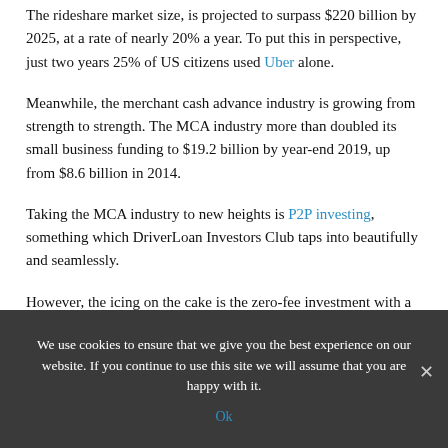The rideshare market size, is projected to surpass $220 billion by 2025, at a rate of nearly 20% a year. To put this in perspective, just two years 25% of US citizens used Uber alone.
Meanwhile, the merchant cash advance industry is growing from strength to strength. The MCA industry more than doubled its small business funding to $19.2 billion by year-end 2019, up from $8.6 billion in 2014.
Taking the MCA industry to new heights is P2P investing, something which DriverLoan Investors Club taps into beautifully and seamlessly.
However, the icing on the cake is the zero-fee investment with a guaranteed 15% return. This IS the meeting of generation Z and the millennials.
We use cookies to ensure that we give you the best experience on our website. If you continue to use this site we will assume that you are happy with it. Ok